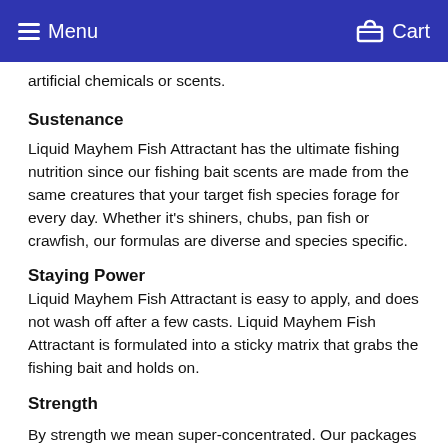Menu  Cart
artificial chemicals or scents.
Sustenance
Liquid Mayhem Fish Attractant has the ultimate fishing nutrition since our fishing bait scents are made from the same creatures that your target fish species forage for every day. Whether it's shiners, chubs, pan fish or crawfish, our formulas are diverse and species specific.
Staying Power
Liquid Mayhem Fish Attractant is easy to apply, and does not wash off after a few casts. Liquid Mayhem Fish Attractant is formulated into a sticky matrix that grabs the fishing bait and holds on.
Strength
By strength we mean super-concentrated. Our packages are compact but go a long way. Don't be fooled by fish attractants that are provided in. Really small with liquid to shove. Fish...